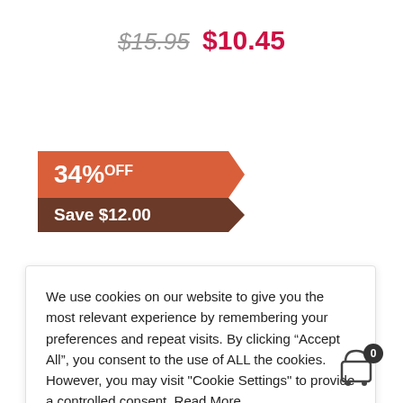$15.95  $10.45
[Figure (infographic): A discount badge in two parts: top part in terracotta/orange with '34% OFF' in white bold text and arrow shape pointing right; bottom part in dark brown with 'Save $12.00' in white bold text, same arrow shape.]
We use cookies on our website to give you the most relevant experience by remembering your preferences and repeat visits. By clicking “Accept All”, you consent to the use of ALL the cookies. However, you may visit "Cookie Settings" to provide a controlled consent. Read More
Cookie Settings   Accept All